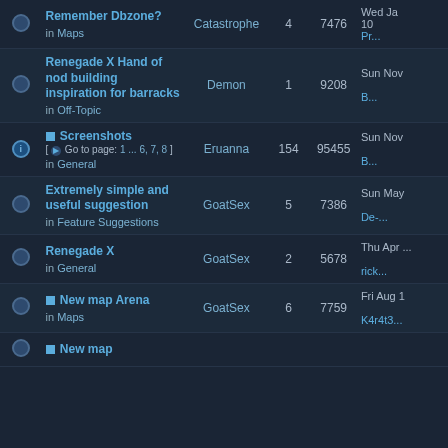|  |  | Topic | Author | Replies | Views | Last Post |
| --- | --- | --- | --- | --- | --- | --- |
| • |  | Remember Dbzone?
in Maps | Catastrophe | 4 | 7476 | Wed Ja
10
Pr... |
| • |  | Renegade X Hand of nod building inspiration for barracks
in Off-Topic | Demon | 1 | 9208 | Sun Nov
B... |
| i | 📎 | Screenshots
[ Go to page: 1 ... 6, 7, 8 ]
in General | Eruanna | 154 | 95455 | Sun Nov
B... |
| • |  | Extremely simple and useful suggestion
in Feature Suggestions | GoatSex | 5 | 7386 | Sun May
De-... |
| • |  | Renegade X
in General | GoatSex | 2 | 5678 | Thu Apr ...
rick... |
| • | 📎 | New map Arena
in Maps | GoatSex | 6 | 7759 | Fri Aug 1
K4r4t3... |
| • | 📎 | New map |  |  |  |  |